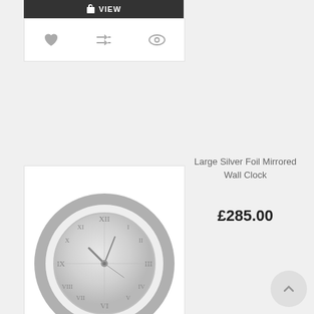[Figure (screenshot): Top portion of a product card showing a VIEW button bar (dark) and icon row with heart, shuffle, eye icons]
[Figure (photo): Large Silver Foil Mirrored Wall Clock — a circular clock with silver mirrored face, Roman numerals, and skeleton-style hands, shown inside a product card with VIEW button and icon row]
Large Silver Foil Mirrored Wall Clock
£285.00